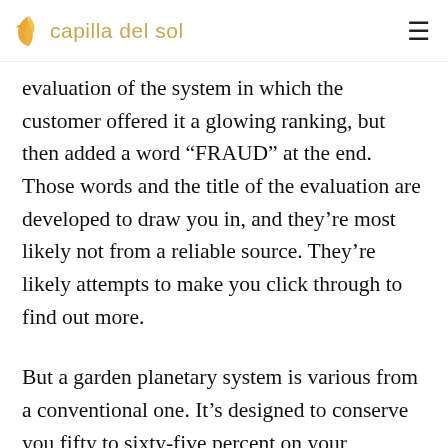capilla del sol
evaluation of the system in which the customer offered it a glowing ranking, but then added a word “FRAUD” at the end. Those words and the title of the evaluation are developed to draw you in, and they’re most likely not from a reliable source. They’re likely attempts to make you click through to find out more.
But a garden planetary system is various from a conventional one. It’s designed to conserve you fifty to sixty-five percent on your electrical energy costs. A conventional